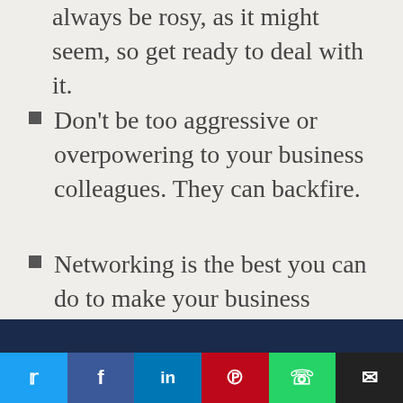always be rosy, as it might seem, so get ready to deal with it.
Don't be too aggressive or overpowering to your business colleagues. They can backfire.
Networking is the best you can do to make your business popular.
Whether you like a particular individual or not, you never know when they would come in handy to
By visiting gauravtiwari.org, you accept use of cookies & agree to privacy policy.
Twitter | Facebook | LinkedIn | Pinterest | WhatsApp | Email